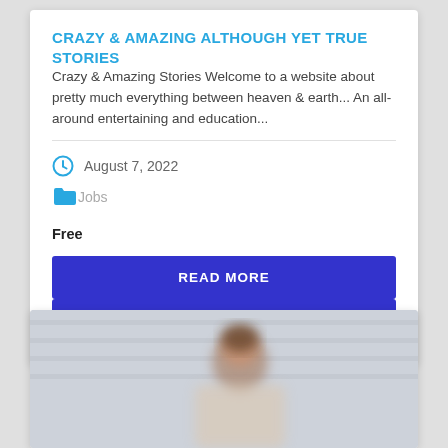CRAZY & AMAZING ALTHOUGH YET TRUE STORIES
Crazy & Amazing Stories Welcome to a website about pretty much everything between heaven & earth... An all-around entertaining and education...
August 7, 2022
Jobs
Free
READ MORE
VIEW WEBSITE
[Figure (photo): Partial view of a card with a blurred photo of a woman (brunette) in a light colored top against a blurred office or indoor background]